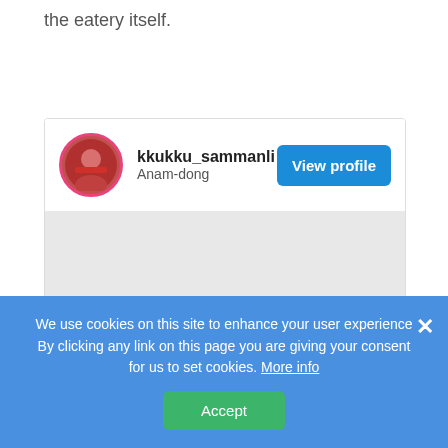the eatery itself.
[Figure (screenshot): User profile card for kkukku_sammanli from Anam-dong with a View profile button and a gray image area below]
We use cookies on this site to enhance your user experience By clicking any link on this page you are giving your consent for us to set cookies. More info
Accept